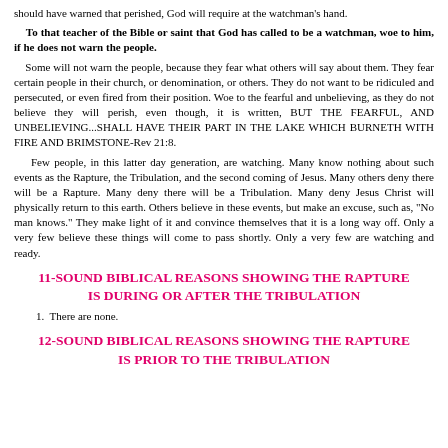should have warned that perished, God will require at the watchman's hand.
To that teacher of the Bible or saint that God has called to be a watchman, woe to him, if he does not warn the people.
Some will not warn the people, because they fear what others will say about them. They fear certain people in their church, or denomination, or others. They do not want to be ridiculed and persecuted, or even fired from their position. Woe to the fearful and unbelieving, as they do not believe they will perish, even though, it is written, BUT THE FEARFUL, AND UNBELIEVING...SHALL HAVE THEIR PART IN THE LAKE WHICH BURNETH WITH FIRE AND BRIMSTONE-Rev 21:8.
Few people, in this latter day generation, are watching. Many know nothing about such events as the Rapture, the Tribulation, and the second coming of Jesus. Many others deny there will be a Rapture. Many deny there will be a Tribulation. Many deny Jesus Christ will physically return to this earth. Others believe in these events, but make an excuse, such as, "No man knows." They make light of it and convince themselves that it is a long way off. Only a very few believe these things will come to pass shortly. Only a very few are watching and ready.
11-SOUND BIBLICAL REASONS SHOWING THE RAPTURE IS DURING OR AFTER THE TRIBULATION
1.  There are none.
12-SOUND BIBLICAL REASONS SHOWING THE RAPTURE IS PRIOR TO THE TRIBULATION